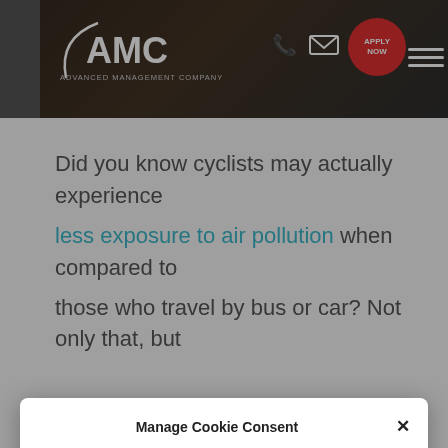[Figure (screenshot): AMC Advanced Management Company website header with logo, phone icon, email icon, red Apply Now button, and hamburger menu]
Did you know cyclists may actually experience less exposure to air pollution when compared to those who travel by bus or car? Not only that, but
Manage Cookie Consent
To provide the best experiences, we use technologies like cookies to store and/or access device information. Consenting to these technologies will allow us to process data such as browsing behavior or unique IDs on this site. Not consenting or withdrawing consent, may adversely affect certain features and functions.
Accept
Cookie Policy  Privacy Statement